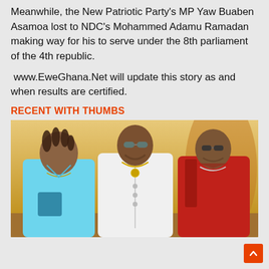Meanwhile, the New Patriotic Party's MP Yaw Buaben Asamoa lost to NDC's Mohammed Adamu Ramadan making way for his to serve under the 8th parliament of the 4th republic.
www.EweGhana.Net will update this story as and when results are certified.
RECENT WITH THUMBS
[Figure (photo): Three men sitting together: left man in cyan/light blue outfit, center man in white sleeveless vest with gold necklace and sunglasses, right man in red leather jacket with sunglasses. Warm orange/golden background.]